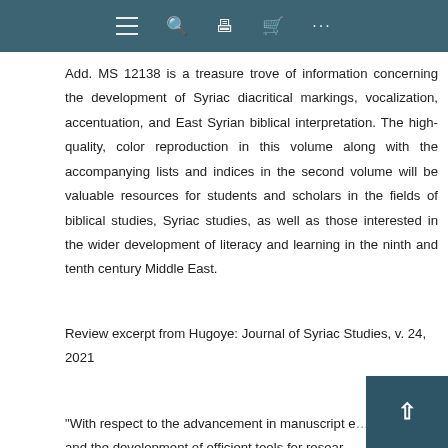navigation bar with hamburger, search, printer, cart, and more icons
Add. MS 12138 is a treasure trove of information concerning the development of Syriac diacritical markings, vocalization, accentuation, and East Syrian biblical interpretation. The high-quality, color reproduction in this volume along with the accompanying lists and indices in the second volume will be valuable resources for students and scholars in the fields of biblical studies, Syriac studies, as well as those interested in the wider development of literacy and learning in the ninth and tenth century Middle East.
Review excerpt from Hugoye: Journal of Syriac Studies, v. 24, 2021
"With respect to the advancement in manuscript e... and the development of efficient tools for resear...